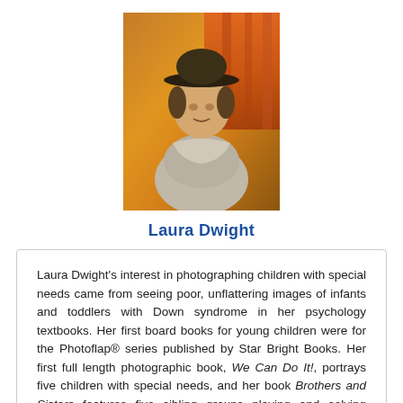[Figure (photo): Portrait photo of Laura Dwight, a woman wearing a hat, with an orange curtain background]
Laura Dwight
Laura Dwight's interest in photographing children with special needs came from seeing poor, unflattering images of infants and toddlers with Down syndrome in her psychology textbooks. Her first board books for young children were for the Photoflap® series published by Star Bright Books. Her first full length photographic book, We Can Do It!, portrays five children with special needs, and her book Brothers and Sisters features five sibling groups playing and solving problems in everyday situations. It allows children to satisfy their curiosity about disabilities while realizing that all children are essentially the same. VISIT Laura